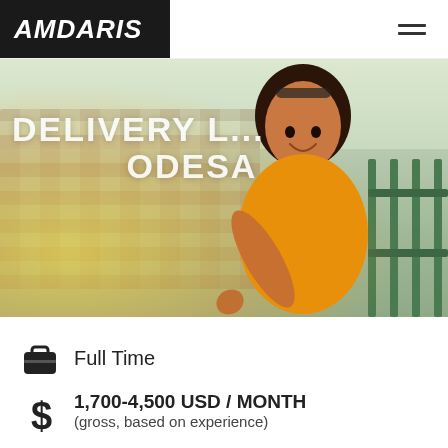AMDARIS
[Figure (photo): Hero image of a smiling young woman in an orange top reaching toward the camera, with text overlay 'DELIVERY L... ODESA' on a warm outdoor background]
Full Time
1,700-4,500 USD / MONTH
(gross, based on experience)